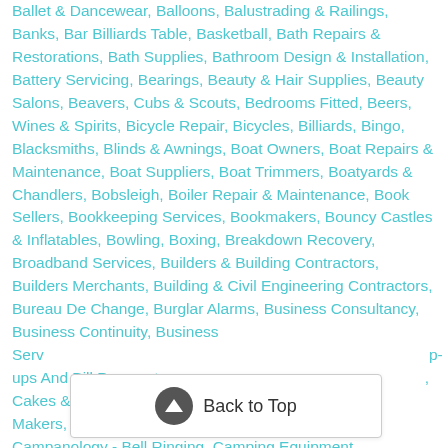Ballet & Dancewear, Balloons, Balustrading & Railings, Banks, Bar Billiards Table, Basketball, Bath Repairs & Restorations, Bath Supplies, Bathroom Design & Installation, Battery Servicing, Bearings, Beauty & Hair Supplies, Beauty Salons, Beavers, Cubs & Scouts, Bedrooms Fitted, Beers, Wines & Spirits, Bicycle Repair, Bicycles, Billiards, Bingo, Blacksmiths, Blinds & Awnings, Boat Owners, Boat Repairs & Maintenance, Boat Suppliers, Boat Trimmers, Boatyards & Chandlers, Bobsleigh, Boiler Repair & Maintenance, Book Sellers, Bookkeeping Services, Bookmakers, Bouncy Castles & Inflatables, Bowling, Boxing, Breakdown Recovery, Broadband Services, Builders & Building Contractors, Builders Merchants, Building & Civil Engineering Contractors, Bureau De Change, Burglar Alarms, Business Consultancy, Business Continuity, Business Services, pop-ups And Bill Payments, Cakes & Cake Makers, Camping, Photography, Cameras, Campanology - Bell Ringing, Camping Equipment,